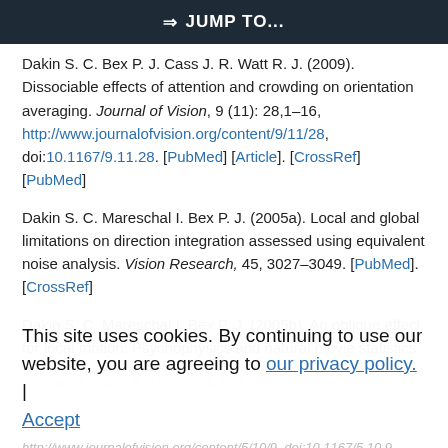⇒ JUMP TO...
Dakin S. C. Bex P. J. Cass J. R. Watt R. J. (2009). Dissociable effects of attention and crowding on orientation averaging. Journal of Vision, 9 (11): 28,1–16, http://www.journalofvision.org/content/9/11/28, doi:10.1167/9.11.28. [PubMed] [Article]. [CrossRef] [PubMed]
Dakin S. C. Mareschal I. Bex P. J. (2005a). Local and global limitations on direction integration assessed using equivalent noise analysis. Vision Research, 45, 3027–3049. [PubMed]. [CrossRef]
Dakin S. C. Mareschal I. Bex P. J. (2005b). An oblique effect for local motion: Psychophysics and natural movie statistics. Journal of Vision, 5 (10): 9,878–887, http://www.journalofvision.org/content/5/10/9, doi:10.1167/5.10.9. [PubMed] [Article]. [CrossRef] [PubMed]
This site uses cookies. By continuing to use our website, you are agreeing to our privacy policy. Accept
Fendick M. Westheimer G. (1983). Effects of practice and the